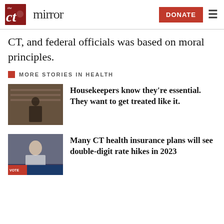the CT mirror | DONATE
CT, and federal officials was based on moral principles.
MORE STORIES IN HEALTH
[Figure (photo): Person working behind a counter in a kitchen or service area]
Housekeepers know they're essential. They want to get treated like it.
[Figure (photo): Woman speaking at a hearing or press conference with a blue chyron banner at the bottom]
Many CT health insurance plans will see double-digit rate hikes in 2023